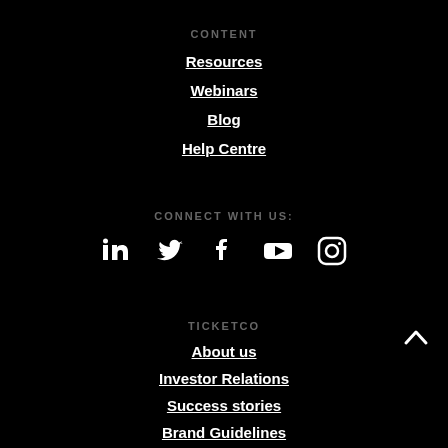CONTENT
Resources
Webinars
Blog
Help Centre
CONNECT WITH US:
[Figure (infographic): Social media icons: LinkedIn, Twitter, Facebook, YouTube, Instagram]
TICKETCO
About us
Investor Relations
Success stories
Brand Guidelines